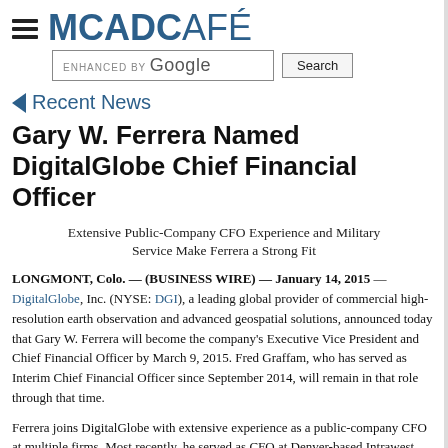MCADCafé
Recent News
Gary W. Ferrera Named DigitalGlobe Chief Financial Officer
Extensive Public-Company CFO Experience and Military Service Make Ferrera a Strong Fit
LONGMONT, Colo. — (BUSINESS WIRE) — January 14, 2015 — DigitalGlobe, Inc. (NYSE: DGI), a leading global provider of commercial high-resolution earth observation and advanced geospatial solutions, announced today that Gary W. Ferrera will become the company's Executive Vice President and Chief Financial Officer by March 9, 2015. Fred Graffam, who has served as Interim Chief Financial Officer since September 2014, will remain in that role through that time.
Ferrera joins DigitalGlobe with extensive experience as a public-company CFO at multiple firms. Most recently, he served as CFO at Denver-based Intrawest Resort Holdings (NYSE: SNOW). Prior to joining Intrawest, F...